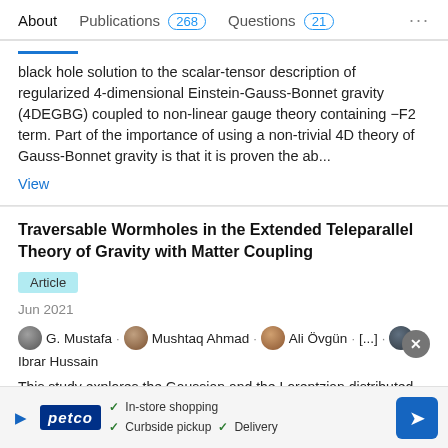About  Publications 268  Questions 21  ...
black hole solution to the scalar-tensor description of regularized 4-dimensional Einstein-Gauss-Bonnet gravity (4DEGBG) coupled to non-linear gauge theory containing −F2 term. Part of the importance of using a non-trivial 4D theory of Gauss-Bonnet gravity is that it is proven the ab...
View
Traversable Wormholes in the Extended Teleparallel Theory of Gravity with Matter Coupling
Article
Jun 2021
G. Mustafa · Mushtaq Ahmad · Ali Övgün · [...] · Ibrar Hussain
This study explores the Gaussian and the Lorentzian distributed spherically symmetric wormhole solutions in the gravity. The